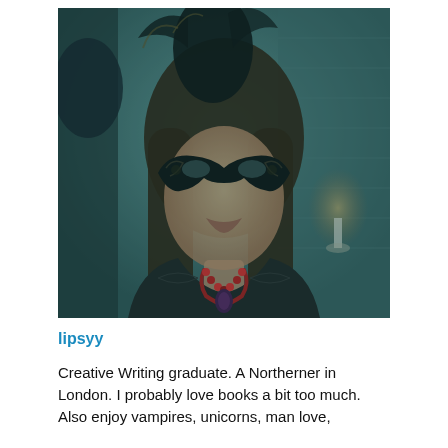[Figure (photo): A person wearing a decorative black masquerade mask with ornate designs, long brown hair, dressed in dark clothing with a red bead necklace with a dark pendant. The photo has a teal/dark toned filter. Background shows a brick wall and dim candlelight.]
lipsyy
Creative Writing graduate. A Northerner in London. I probably love books a bit too much. Also enjoy vampires, unicorns, man love,